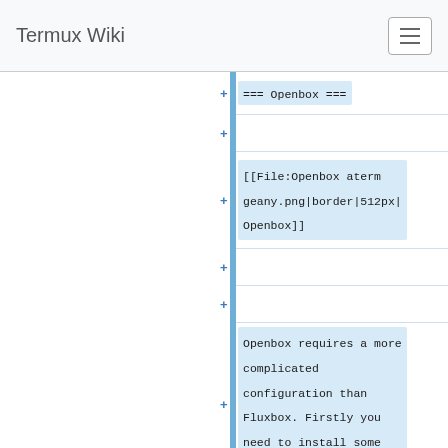Termux Wiki
=== Openbox ===
+
[[File:Openbox aterm geany.png|border|512px|Openbox]]
+
+
Openbox requires a more complicated configuration than Fluxbox. Firstly you need to install some packages:
+
pkg install openbox